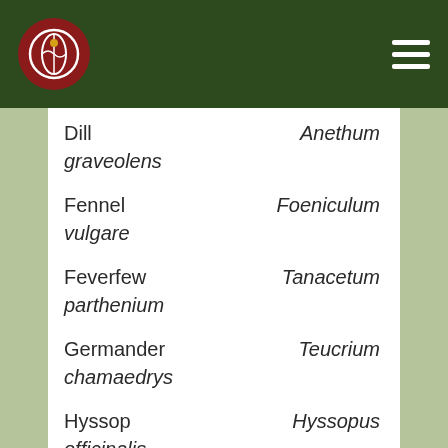Dill — Anethum graveolens
Fennel — Foeniculum vulgare
Feverfew — Tanacetum parthenium
Germander — Teucrium chamaedrys
Hyssop — Hyssopus officinalis
Lamb's ears — Stachys